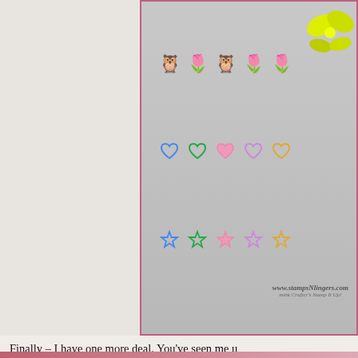[Figure (photo): Photo of colorful mini glitter stamps arranged in a 5x3 grid showing owls, hearts, and stars in various colors (blue, teal, green, pink, purple, orange/yellow). A neon yellow ribbon bow is visible at the top right. A watermark reads www.stampsNlingers.com with subtext 'mink Crafter's Stamp It Up!' The photo is framed with a pink/mauve border.]
Finally – I have one more deal.  You've seen me use Finely Woven Ribbon on a few cards now.  And you know it comes in the new In Colors.  Wouldn't it be nice to have a whole set?
This is a special Add On Bundle.  You can buy it alone (it gets lonely lonesome!) to either of the bundles listed above.  All 5 In Colors for $35 with free shipping and tax!
Stamps-N-Lingers
1/2" Finely Woven Ribbon A
$35 (free shipping and t